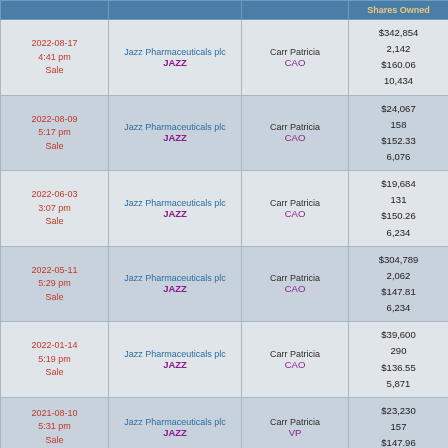| Date/Time/Type | Company | Insider | Shares Owned |
| --- | --- | --- | --- |
| 2022-08-17 4:41 pm Sale | Jazz Pharmaceuticals plc JAZZ | Carr Patricia CAO | $342,854 2,142 $160.06 10,434 |
| 2022-08-09 5:17 pm Sale | Jazz Pharmaceuticals plc JAZZ | Carr Patricia CAO | $24,067 158 $152.33 6,076 |
| 2022-06-03 3:07 pm Sale | Jazz Pharmaceuticals plc JAZZ | Carr Patricia CAO | $19,684 131 $150.26 6,234 |
| 2022-05-11 5:29 pm Sale | Jazz Pharmaceuticals plc JAZZ | Carr Patricia CAO | $304,789 2,062 $147.81 6,234 |
| 2022-01-14 5:19 pm Sale | Jazz Pharmaceuticals plc JAZZ | Carr Patricia CAO | $39,600 290 $136.55 5,871 |
| 2021-08-10 5:31 pm Sale | Jazz Pharmaceuticals plc JAZZ | Carr Patricia VP | $23,230 157 $147.96 |